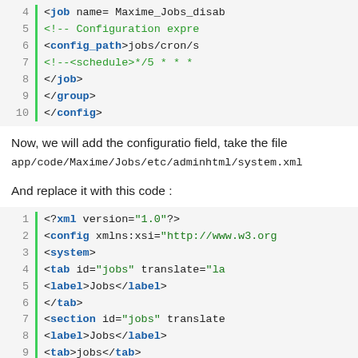[Figure (screenshot): Code block showing XML job configuration lines 4-10 with green line bar, teal/blue syntax highlighting on white/light gray background. Lines show job name, config comments, config_path, schedule comment, and closing tags for job, group, config.]
Now, we will add the configuratio field, take the file app/code/Maxime/Jobs/etc/adminhtml/system.xml
And replace it with this code:
[Figure (screenshot): Code block showing XML system.xml configuration lines 1-12 with green line bar, blue/teal/green syntax highlighting. Lines show xml declaration, config xmlns, system, tab id=jobs, label Jobs, /tab, section id=jobs, label Jobs, tab jobs, resource Maxime_Jo..., group id=departme..., label Department co...]